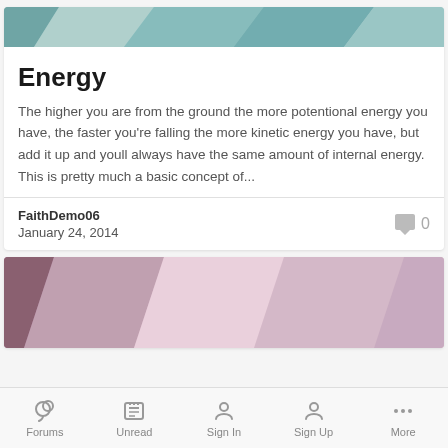[Figure (illustration): Teal/green polygon geometric low-poly abstract header image]
Energy
The higher you are from the ground the more potentional energy you have, the faster you're falling the more kinetic energy you have, but add it up and youll always have the same amount of internal energy. This is pretty much a basic concept of...
FaithDemo06
January 24, 2014
0
[Figure (illustration): Pink/mauve polygon geometric low-poly abstract header image for second post card]
Forums   Unread   Sign In   Sign Up   More